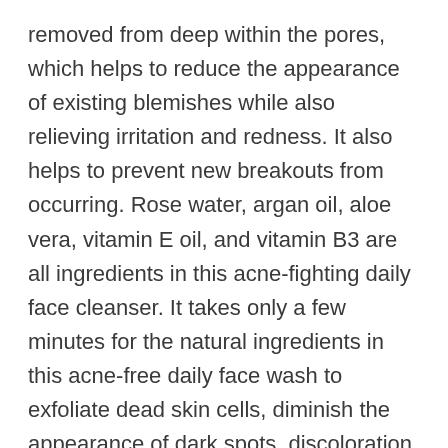removed from deep within the pores, which helps to reduce the appearance of existing blemishes while also relieving irritation and redness. It also helps to prevent new breakouts from occurring. Rose water, argan oil, aloe vera, vitamin E oil, and vitamin B3 are all ingredients in this acne-fighting daily face cleanser. It takes only a few minutes for the natural ingredients in this acne-free daily face wash to exfoliate dead skin cells, diminish the appearance of dark spots, discoloration, and damage caused by prolonged sun exposure. This face cleanser successfully removes filth, oil, and pollutants while leaving you with nourished and soft skin. This is due to the presence of powerful antioxidants such as vitamin E and organic aloe vera, which work for both men and women to reduce inflammation and even smooth